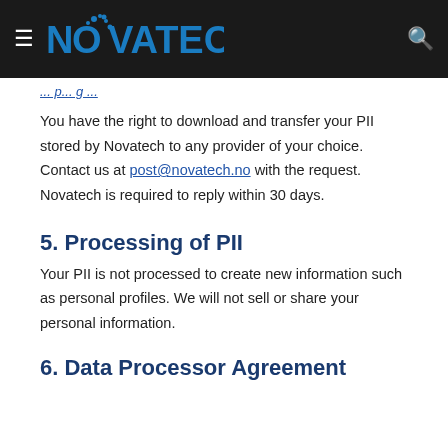NOVATECH
You have the right to download and transfer your PII stored by Novatech to any provider of your choice. Contact us at post@novatech.no with the request. Novatech is required to reply within 30 days.
5. Processing of PII
Your PII is not processed to create new information such as personal profiles. We will not sell or share your personal information.
6. Data Processor Agreement